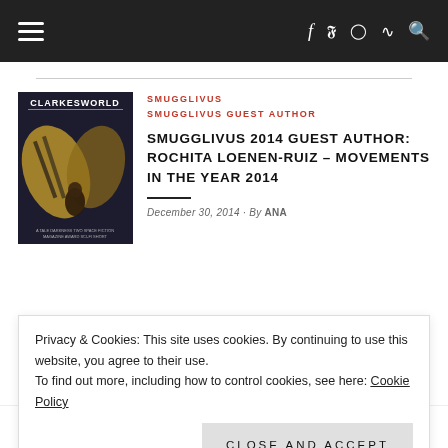Navigation bar with hamburger menu and social icons (f, twitter, instagram, rss, search)
[Figure (illustration): Clarkesworld magazine cover showing a winged figure with golden wings against dark background]
SMUGGLIVUS SMUGGLIVUS GUEST AUTHOR
SMUGGLIVUS 2014 GUEST AUTHOR: ROCHITA LOENEN-RUIZ – MOVEMENTS IN THE YEAR 2014
December 30, 2014 · By ANA
Privacy & Cookies: This site uses cookies. By continuing to use this website, you agree to their use.
To find out more, including how to control cookies, see here: Cookie Policy
Close and accept
SMUGGLIVUS